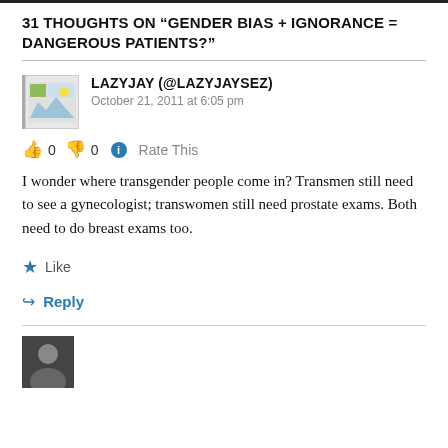31 THOUGHTS ON “GENDER BIAS + IGNORANCE = DANGEROUS PATIENTS?”
LAZYJAY (@LAZYJAYSEZ)
October 21, 2011 at 6:05 pm
👍 0 👎 0 ℹ Rate This
I wonder where transgender people come in? Transmen still need to see a gynecologist; transwomen still need prostate exams. Both need to do breast exams too.
★ Like
↪ Reply